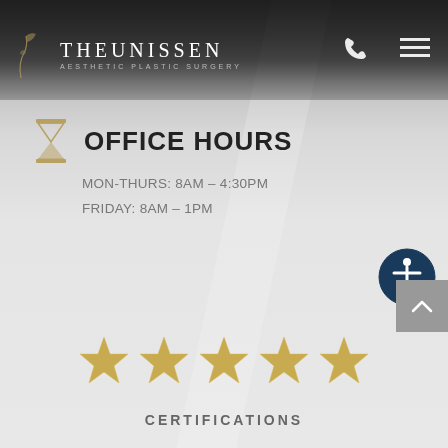THEUNISSEN AESTHETIC PLASTIC SURGERY
OFFICE HOURS
MON-THURS: 8AM – 4:30PM
FRIDAY: 8AM – 1PM
[Figure (infographic): Five gold stars rating graphic]
Theunissen Aesthetic Plastic Surgery of Baton Rouge is rated 4.9 out of 5 based on 56 reviews from around the Web.
CERTIFICATIONS